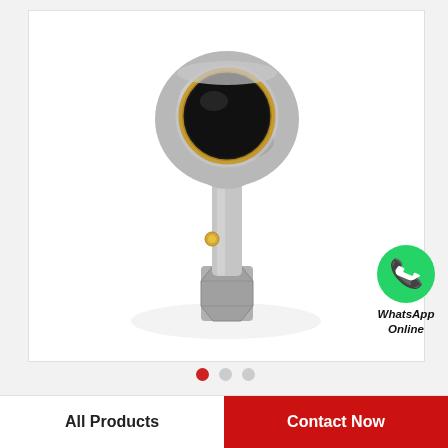[Figure (photo): A metal rod end bearing / ball joint linkage component with a spherical eye at the top showing a gold/brass lubrication nipple and dark inner race, and a threaded shank at the bottom with a hex nut. The part is metallic grey/silver and photographed against a white background.]
[Figure (logo): WhatsApp green circle icon with phone handset, labelled 'WhatsApp Online' in bold italic text below]
35 mm x 72 mm x 27 mm 35 mm x 72 mm x 27 mm FAG 3207-B-2Z-TVH angular contact ball…
All Products
Contact Now